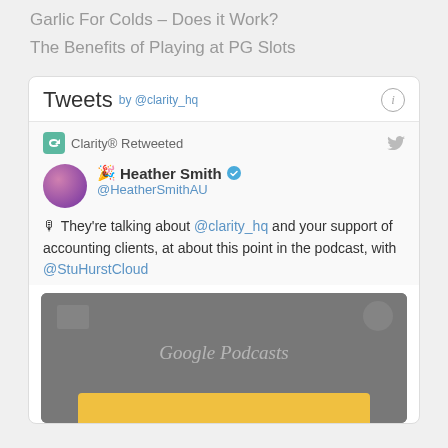Garlic For Colds – Does it Work?
The Benefits of Playing at PG Slots
Tweets by @clarity_hq
Clarity® Retweeted
🎉 Heather Smith ✓ @HeatherSmithAU
🎙 They're talking about @clarity_hq and your support of accounting clients, at about this point in the podcast, with @StuHurstCloud
[Figure (screenshot): Google Podcasts media preview card with grey background and yellow bar at bottom]